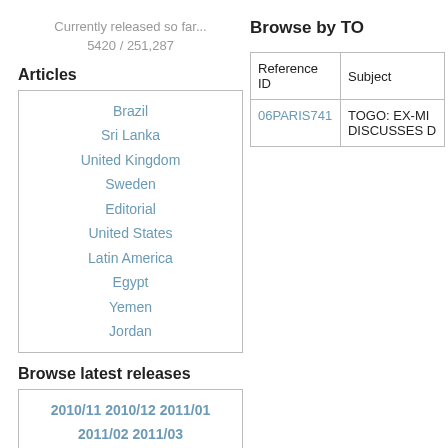Currently released so far...
5420 / 251,287
Articles
Brazil
Sri Lanka
United Kingdom
Sweden
Editorial
United States
Latin America
Egypt
Yemen
Jordan
Browse latest releases
2010/11 2010/12 2011/01 2011/02 2011/03
Browse by creation date
66 72 73 75 79 86 88 89 90 00 01 02 03 04 05 06
Browse by TO
| Reference ID | Subject |
| --- | --- |
| 06PARIS741 | TOGO: EX-MI DISCUSSES |